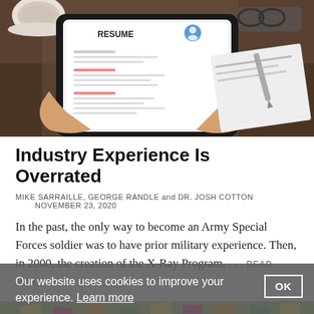[Figure (photo): Person holding a tablet displaying a resume document, with papers and glasses on a wooden desk in the background]
Industry Experience Is Overrated
MIKE SARRAILLE, GEORGE RANDLE and DR. JOSH COTTON    NOVEMBER 23, 2020
In the past, the only way to become an Army Special Forces soldier was to have prior military experience. Then, in 2000, the creation of the X-Ray Program, . . . READ MORE
[Figure (photo): Person surrounded by colorful sticky notes on a green background]
Our website uses cookies to improve your experience. Learn more